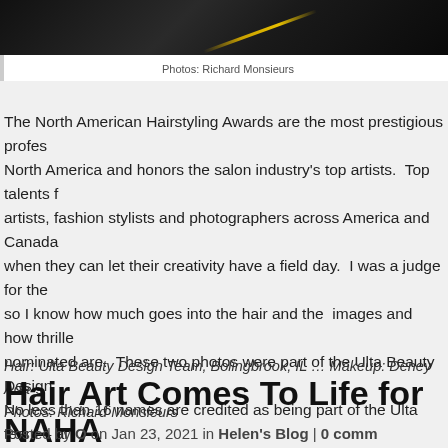[Figure (photo): Dark/black background photo, partially visible at top of page, with a diagonal gold line visible]
Photos: Richard Monsieurs
The North American Hairstyling Awards are the most prestigious profes... North America and honors the salon industry's top artists. Top talents f... artists, fashion stylists and photographers across America and Canada... when they can let their creativity have a field day. I was a judge for the... so I know how much goes into the hair and the images and how thrille... nominated are. These two photos were part of the Ulta Beauty Design... No less than 16 names are credited as being part of the Ulta team – al... archived in an album on my website, which features 23 images. To see...
CLICK HERE
Hair: Ulta Beauty Design Team, Bolingbrook, IL … Makeup: Deney Ada... Photos: Richard Monsieurs
Hair Art Comes To Life for NAHA
Posted by O on Jan 23, 2021 in Helen's Blog | 0 comm...